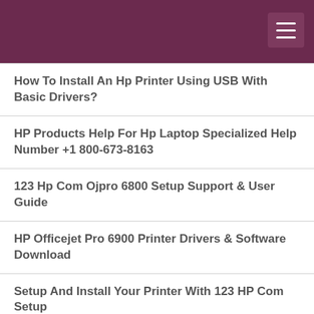How To Install An Hp Printer Using USB With Basic Drivers?
HP Products Help For Hp Laptop Specialized Help Number +1 800-673-8163
123 Hp Com Ojpro 6800 Setup Support & User Guide
HP Officejet Pro 6900 Printer Drivers & Software Download
Setup And Install Your Printer With 123 HP Com Setup
Resolve Issues Regarding Norton On Norton Technical Phone Support Number